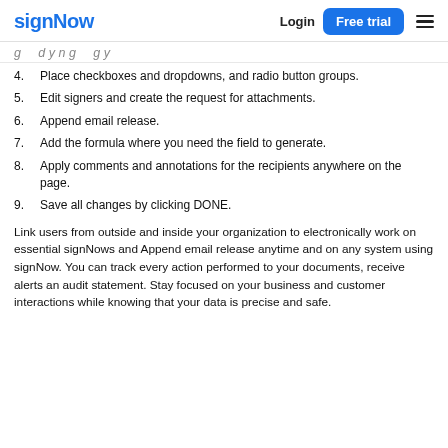signNow  Login  Free trial
g   d y n g   g y
4.  Place checkboxes and dropdowns, and radio button groups.
5.  Edit signers and create the request for attachments.
6.  Append email release.
7.  Add the formula where you need the field to generate.
8.  Apply comments and annotations for the recipients anywhere on the page.
9.  Save all changes by clicking DONE.
Link users from outside and inside your organization to electronically work on essential signNows and Append email release anytime and on any system using signNow. You can track every action performed to your documents, receive alerts an audit statement. Stay focused on your business and customer interactions while knowing that your data is precise and safe.